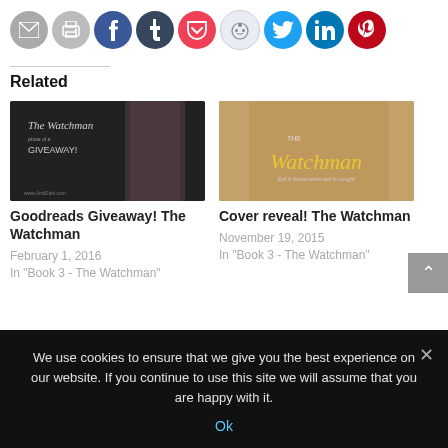[Figure (other): Row of social sharing icon circles: email, print, Facebook, Tumblr, Pocket, Reddit, Twitter, LinkedIn, Pinterest]
Related
[Figure (photo): Book promotional image for The Watchman Goodreads Giveaway — dark background with shirtless male figure, GIVEAWAY! text, AriadaDahl.com watermark]
Goodreads Giveaway! The Watchman
February 1, 2016
In "Book 3 - The Watchman"
[Figure (photo): Book cover image for The Watchman — muscular figure, yellow script title 'Watchman', subtitle 'Evil is found when evil is sought']
Cover reveal! The Watchman
November 19, 2015
In "Book 3 - The Watchman"
We use cookies to ensure that we give you the best experience on our website. If you continue to use this site we will assume that you are happy with it.
Ok